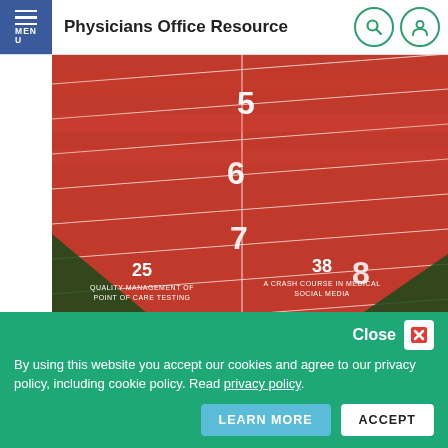Physicians Office Resource
[Figure (photo): Red athletic track with lane numbers 5, 6, 7, 8 visible, with text overlays: '25 QUALITY MANAGEMENT OF POINT OF CARE TESTING' and '38 A CRASH COURSE IN MEDICAL SOCIAL MEDIA']
Physicians Office Resource - February 2021
[Figure (photo): Cover of Physicians Office Resource magazine, 2021 Issue 1, blue background with large white serif text 'Physicians office Resource']
Close
By using this website you accept our cookies and agree to our privacy policy, including cookie policy. Read privacy policy.
LEARN MORE    ACCEPT